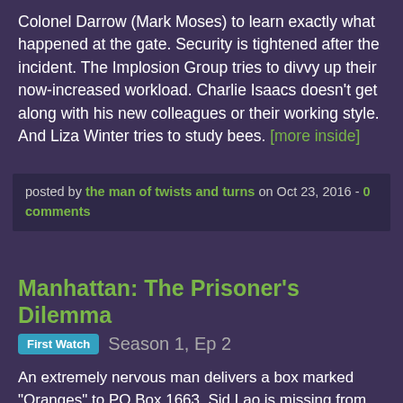Colonel Darrow (Mark Moses) to learn exactly what happened at the gate. Security is tightened after the incident. The Implosion Group tries to divvy up their now-increased workload. Charlie Isaacs doesn't get along with his new colleagues or their working style. And Liza Winter tries to study bees. [more inside]
posted by the man of twists and turns on Oct 23, 2016 - 0 comments
Manhattan: The Prisoner's Dilemma
First Watch  Season 1, Ep 2
An extremely nervous man delivers a box marked "Oranges" to PO Box 1663. Sid Lao is missing from the implosion group, which is now (thanks to the Army) reconstituted. But there's no gifts from the underworld for the newly-alive group. Meanwhile, a domestic disaster in the Isaacs house spurs Abby to find advice from Liza Winter and make a chain